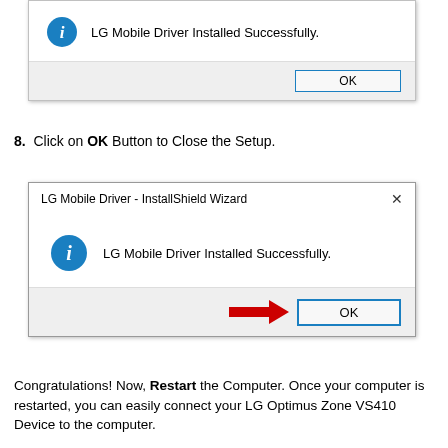[Figure (screenshot): Dialog box showing 'LG Mobile Driver Installed Successfully.' with an info icon (i) and an OK button at the bottom right on a gray footer.]
8.  Click on OK Button to Close the Setup.
[Figure (screenshot): Dialog box titled 'LG Mobile Driver - InstallShield Wizard' with a close X button, an info icon and text 'LG Mobile Driver Installed Successfully.', a gray footer with a red arrow pointing to the OK button.]
Congratulations! Now, Restart the Computer. Once your computer is restarted, you can easily connect your LG Optimus Zone VS410 Device to the computer.